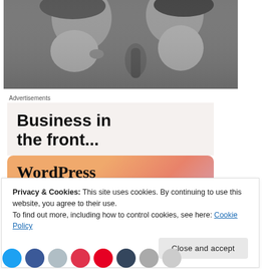[Figure (photo): Black and white close-up photo of two people facing each other, one holding a microphone]
Advertisements
[Figure (infographic): Advertisement banner: top section with light beige background reads 'Business in the front...' in bold sans-serif; bottom section with orange-pink gradient background reads 'WordPress in the back.' in bold serif font]
Privacy & Cookies: This site uses cookies. By continuing to use this website, you agree to their use.
To find out more, including how to control cookies, see here: Cookie Policy
Close and accept